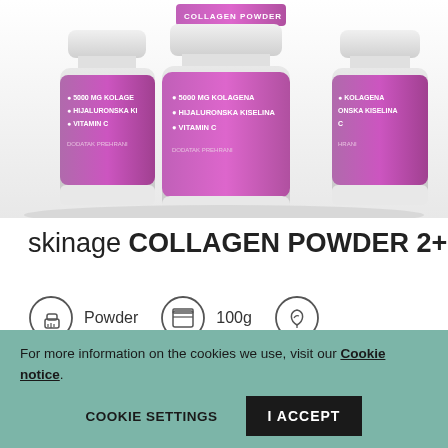[Figure (photo): Three purple/magenta collagen powder supplement containers arranged side by side. Labels read: COLLAGEN POWDER, 5000 MG KOLAGENA, HIJALURONSKA KISELINA, VITAMIN C, DODATAK PREHRANI]
skinage COLLAGEN POWDER 2+1
Powder  100g
Price:
For more information on the cookies we use, visit our Cookie notice.  COOKIE SETTINGS  I ACCEPT